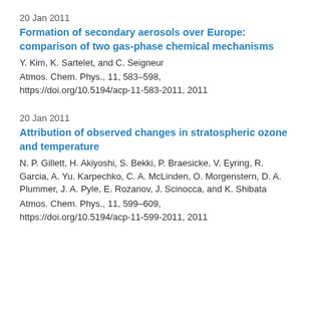20 Jan 2011
Formation of secondary aerosols over Europe: comparison of two gas-phase chemical mechanisms
Y. Kim, K. Sartelet, and C. Seigneur
Atmos. Chem. Phys., 11, 583–598, https://doi.org/10.5194/acp-11-583-2011, 2011
20 Jan 2011
Attribution of observed changes in stratospheric ozone and temperature
N. P. Gillett, H. Akiyoshi, S. Bekki, P. Braesicke, V. Eyring, R. Garcia, A. Yu. Karpechko, C. A. McLinden, O. Morgenstern, D. A. Plummer, J. A. Pyle, E. Rozanov, J. Scinocca, and K. Shibata
Atmos. Chem. Phys., 11, 599–609, https://doi.org/10.5194/acp-11-599-2011, 2011